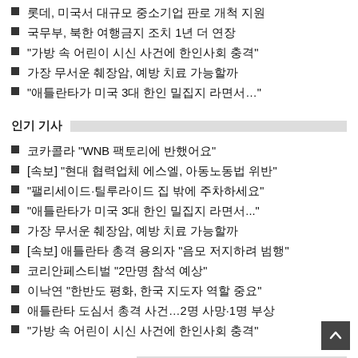롯데, 미국서 대규모 중소기업 판로 개척 지원
국무부, 북한 여행금지 조치 1년 더 연장
"가방 속 어린이 시신 사건에 한인사회 충격"
가장 무서운 췌장암, 예방 치료 가능할까
"애틀란타가 미국 3대 한인 밀집지 라면서…"
인기 기사
코카콜라 "WNB 팩토리에 반했어요"
[속보] "현대 협력업체 에스엘, 아동노동법 위반"
"팰리세이드·틸루라이드 집 밖에 주차하세요"
"애틀란타가 미국 3대 한인 밀집지 라면서..."
가장 무서운 췌장암, 예방 치료 가능할까
[속보] 애틀란타 총격 용의자 "음모 저지하려 범행"
코리안페스티벌 "2만명 참석 예상"
이낙연 "한반도 평화, 한국 지도자 역할 중요"
애틀란타 도심서 총격 사건…2명 사망·1명 부상
"가방 속 어린이 시신 사건에 한인사회 충격"
ATLANTA K FACEBOOK